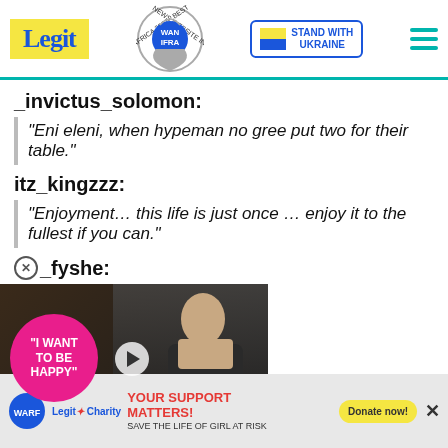Legit | WAN IFRA 2021 Best News Website in Africa | Stand with Ukraine
_invictus_solomon:
"Eni eleni, when hypeman no gree put two for their table."
itz_kingzzz:
"Enjoyment… this life is just once … enjoy it to the fullest if you can."
_fyshe:
[Figure (screenshot): Video thumbnail showing a couple, with pink circle overlay reading 'I WANT TO BE HAPPY' and a play button. A red minimize button with chevron is visible.]
ndon club he 1st
[Figure (infographic): Advertisement banner: WARF logo, Legit Charity logo, text 'YOUR SUPPORT MATTERS! SAVE THE LIFE OF GIRL AT RISK', Donate now button, close X button]